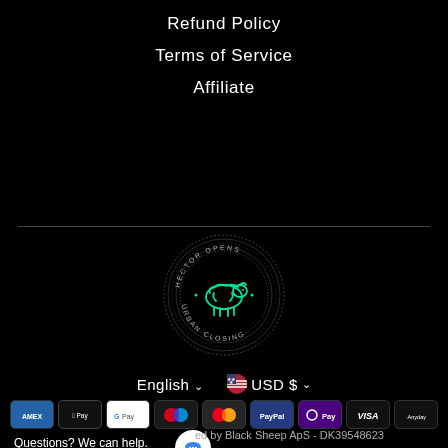Refund Policy
Terms of Service
Affiliate
[Figure (logo): Black Sheep Urban Clothing circular logo with sheep icon in teal/green, text 'HECTOR OPENS' and 'URBAN CLOSING' around the circle]
English ∨   USD $ ∨
[Figure (infographic): Payment method icons: AMEX, Apple Pay, Google Pay, Maestro, Mastercard, PayPal, OPay, VISA, Anyday]
Questions? We can help.
Chat with us now.
ed by Black Sheep ApS - DK39548623
341235 - Norregade 12 , 6330 Padborg , Denmark